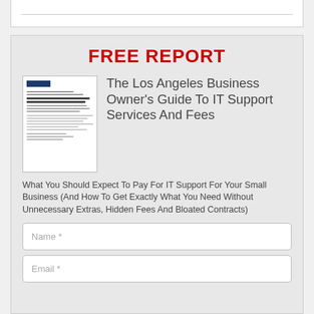FREE REPORT
[Figure (illustration): Thumbnail image of a printed report/book cover for 'The Los Angeles Business Owner's Guide To IT Support Services And Fees']
The Los Angeles Business Owner's Guide To IT Support Services And Fees
What You Should Expect To Pay For IT Support For Your Small Business (And How To Get Exactly What You Need Without Unnecessary Extras, Hidden Fees And Bloated Contracts)
Name *
Email *